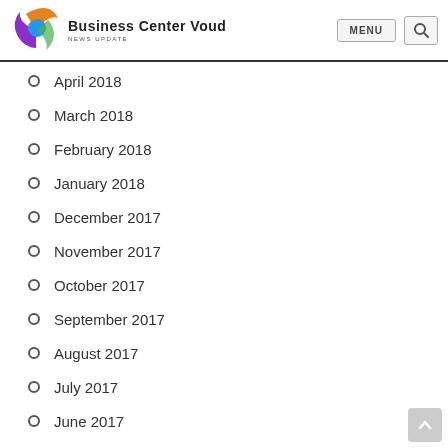Business Center Voud — News Update | MENU | Search
April 2018
March 2018
February 2018
January 2018
December 2017
November 2017
October 2017
September 2017
August 2017
July 2017
June 2017
May 2017